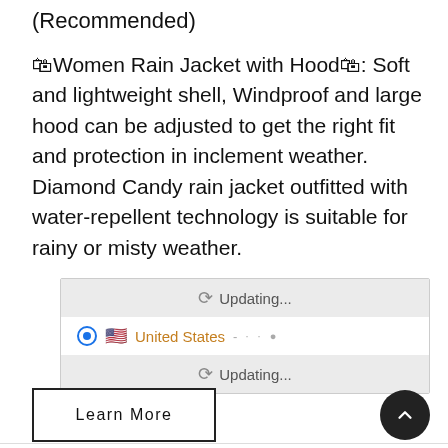(Recommended)
🏷Women Rain Jacket with Hood🏷: Soft and lightweight shell, Windproof and large hood can be adjusted to get the right fit and protection in inclement weather. Diamond Candy rain jacket outfitted with water-repellent technology is suitable for rainy or misty weather.
[Figure (screenshot): A UI widget showing location/shipping selector with two 'Updating...' spinner rows in gray and a 'United States' option row with radio button and flag in the middle.]
Learn More
[Figure (other): Scroll-to-top button — dark circle with upward chevron arrow]